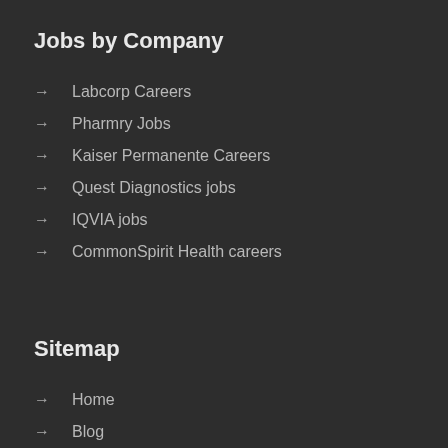Jobs by Company
Labcorp Careers
Pharmry Jobs
Kaiser Permanente Careers
Quest Diagnostics jobs
IQVIA jobs
CommonSpirit Health careers
Sitemap
Home
Blog
Advance Job Search